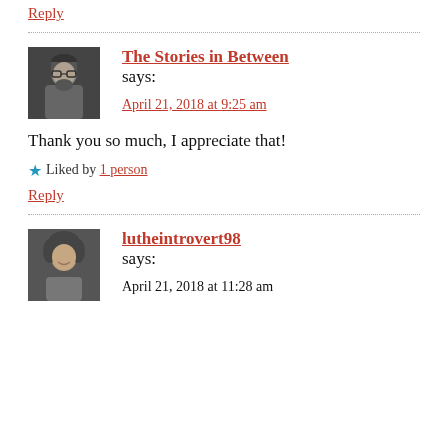Reply
The Stories in Between says:
April 21, 2018 at 9:25 am
Thank you so much, I appreciate that!
Liked by 1 person
Reply
lutheintrovert98 says:
April 21, 2018 at 11:28 am